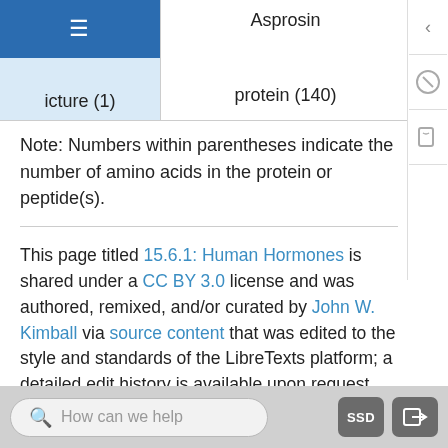| Hormone | Asprosin |
| --- | --- |
| Structure (1) | protein (140) |
Note: Numbers within parentheses indicate the number of amino acids in the protein or peptide(s).
This page titled 15.6.1: Human Hormones is shared under a CC BY 3.0 license and was authored, remixed, and/or curated by John W. Kimball via source content that was edited to the style and standards of the LibreTexts platform; a detailed edit history is available upon request.
Back to top ▲
How can we help